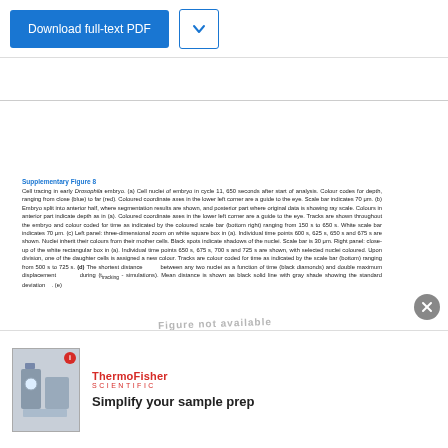[Figure (screenshot): Download full-text PDF button (blue) and dropdown arrow button (white with blue border) in a top navigation bar]
Supplementary Figure 8
Cell tracing in early Drosophila embryo. (a) Cell nuclei of embryo in cycle 11, 650 seconds after start of analysis. Colour codes for depth, ranging from close (blue) to far (red). Coloured coordinate axes in the lower left corner are a guide to the eye. Scale bar indicates 70 μm. (b) Embryo split into anterior half, where segmentation results are shown, and posterior part where original data is showing ray scale. Colours in anterior part indicate depth as in (a). Coloured coordinate axes in the lower left corner are a guide to the eye. Tracks are shown throughout the embryo and colour coded for time as indicated by the coloured scale bar (bottom right) ranging from 150 s to 650 s. White scale bar indicates 70 μm. (c) Left panel: three-dimensional zoom on white square box in (a). Individual time points 600 s, 625 s, 650 s and 675 s are shown. Nuclei inherit their colours from their mother cells. Black spots indicate shadows of the nuclei. Scale bar is 30 μm. Right panel: close-up of the white rectangular box in (a). Individual time points 650 s, 675 s, 700 s and 725 s are shown, with selected nuclei coloured. Upon division, one of the daughter cells is assigned a new colour. Tracks are colour coded for time as indicated by the scale bar (bottom) ranging from 500 s to 725 s. (d) The shortest distance between any two nuclei as a function of time (black diamonds) and double maximum displacement during (t_tracking - simulations). Mean distance is shown as black solid line with gray shade showing the standard deviation … (e)
[Figure (screenshot): Thermo Fisher Scientific advertisement: lab equipment image on left, ThermoFisher Scientific logo in red, tagline 'Simplify your sample prep']